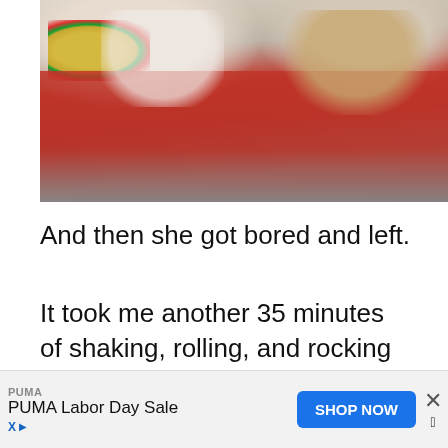[Figure (photo): A person wearing a red top and colorful bead bracelet holding two containers (a white container and a gold-lidded jar) up to their face, appearing to be shaking or mixing them.]
And then she got bored and left.
It took me another 35 minutes of shaking, rolling, and rocking that damn cream in order to get the butter to separate. Everyone in the house kept walking past me, shaking their heads in wonder, or amazement, that I to
[Figure (other): Red circular search button with magnifying glass icon]
[Figure (other): Advertisement banner: PUMA Labor Day Sale with SHOP NOW button]